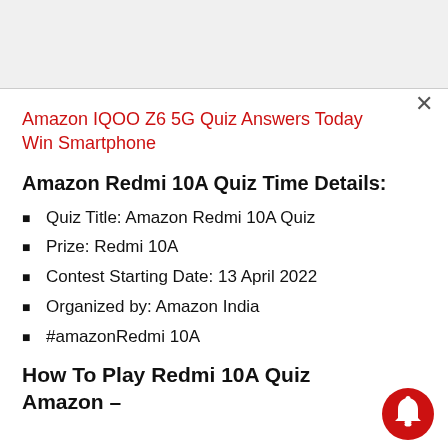Amazon IQOO Z6 5G Quiz Answers Today Win Smartphone
Amazon Redmi 10A Quiz Time Details:
Quiz Title: Amazon Redmi 10A Quiz
Prize: Redmi 10A
Contest Starting Date: 13 April 2022
Organized by: Amazon India
#amazonRedmi 10A
How To Play Redmi 10A Quiz Amazon –